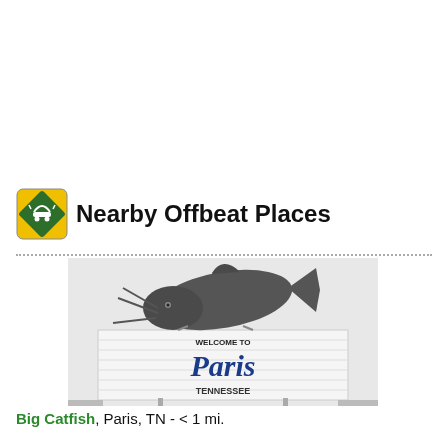Nearby Offbeat Places
[Figure (photo): Photo of the Big Catfish sculpture mounted above a 'Welcome to Paris Tennessee' sign in Paris, TN. A large dark gray catfish sculpture is mounted on top of a white billboard sign that reads 'Welcome to Paris, Tennessee'.]
Big Catfish, Paris, TN - < 1 mi.